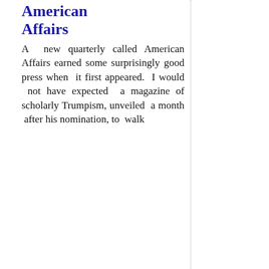American Affairs
A new quarterly called American Affairs earned some surprisingly good press when it first appeared. I would not have expected a magazine of scholarly Trumpism, unveiled a month after his nomination, to walk away with